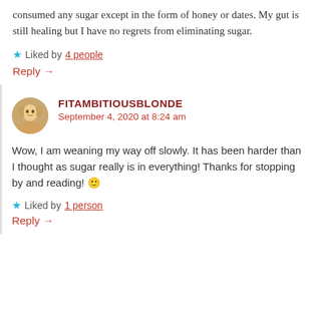consumed any sugar except in the form of honey or dates. My gut is still healing but I have no regrets from eliminating sugar.
Liked by 4 people
Reply →
FITAMBITIOUSBLONDE
September 4, 2020 at 8:24 am
Wow, I am weaning my way off slowly. It has been harder than I thought as sugar really is in everything! Thanks for stopping by and reading! 🙂
Liked by 1 person
Reply →